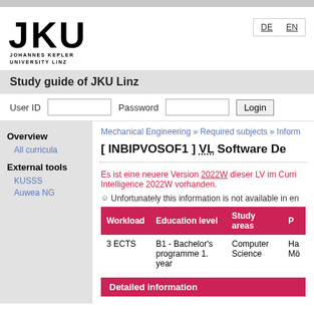[Figure (logo): JKU Johannes Kepler University Linz logo]
DE EN
Study guide of JKU Linz
User ID   Password   Login
Overview
All curricula
External tools
KUSSS
Auwea NG
Mechanical Engineering » Required subjects » Inform
[ INBIPVOSOF1 ] VL Software De
Es ist eine neuere Version 2022W dieser LV im Curri Intelligence 2022W vorhanden.
Unfortunately this information is not available in en
| Workload | Education level | Study areas | P |
| --- | --- | --- | --- |
| 3 ECTS | B1 - Bachelor's programme 1. year | Computer Science | Ha Mö |
Detailed information